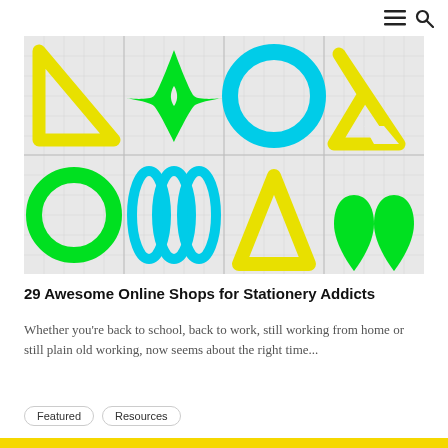≡ 🔍
[Figure (illustration): Grid of 8 colorful geometric shapes on a light gray graph-paper background: yellow set-square triangle outline, green 4-pointed star, cyan circle ring, yellow triangle ring (Penrose-style), green circle ring, cyan triple oval wave, yellow triangle outline, green double teardrop shape.]
29 Awesome Online Shops for Stationery Addicts
Whether you're back to school, back to work, still working from home or still plain old working, now seems about the right time...
Featured
Resources